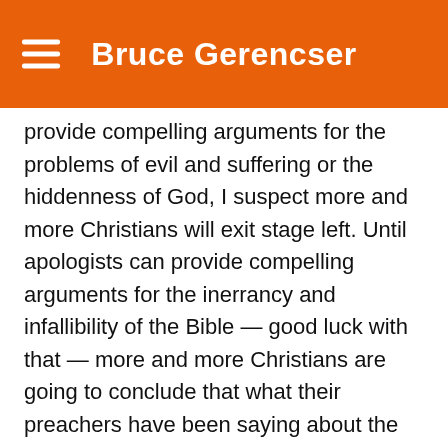Bruce Gerencser
provide compelling arguments for the problems of evil and suffering or the hiddenness of God, I suspect more and more Christians will exit stage left. Until apologists can provide compelling arguments for the inerrancy and infallibility of the Bible — good luck with that — more and more Christians are going to conclude that what their preachers have been saying about the Bible and its teaching are lies.
The Internet has pulled back the curtain and exposed the lies behind Christianity. Tee longs for